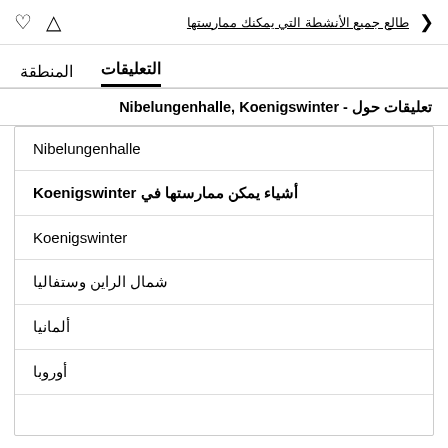طالع جميع الأنشطة التي يمكنك ممارستها
المنطقة   التعليقات
تعليقات حول - Nibelungenhalle, Koenigswinter
Nibelungenhalle
أشياء يمكن ممارستها في Koenigswinter
Koenigswinter
شمال الراين وستفاليا
ألمانيا
أوروبا